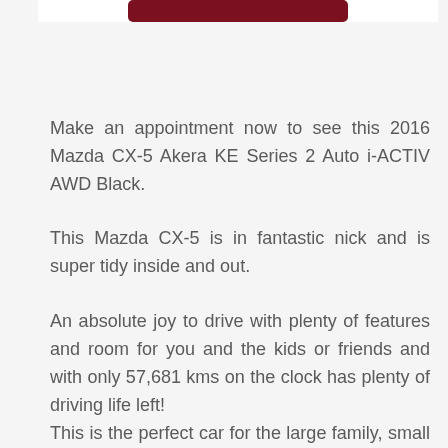[Figure (other): Partial view of a dark red/maroon button or decorative element at the top of the page]
Make an appointment now to see this 2016 Mazda CX-5 Akera KE Series 2 Auto i-ACTIV AWD Black.
This Mazda CX-5 is in fantastic nick and is super tidy inside and out.
An absolute joy to drive with plenty of features and room for you and the kids or friends and with only 57,681 kms on the clock has plenty of driving life left!
This is the perfect car for the large family, small family or anyone looking for a little more adventure in their life!
Grab this opportunity before some else does, so call me and come and test drive today!